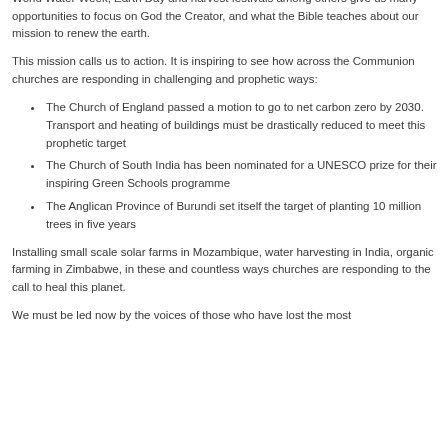the Creator, from 1 September to 4 October.
World Water Week, Earth Day and harvest festivals among others give us many opportunities to focus on God the Creator, and what the Bible teaches about our mission to renew the earth.
This mission calls us to action. It is inspiring to see how across the Communion churches are responding in challenging and prophetic ways:
The Church of England passed a motion to go to net carbon zero by 2030. Transport and heating of buildings must be drastically reduced to meet this prophetic target
The Church of South India has been nominated for a UNESCO prize for their inspiring Green Schools programme
The Anglican Province of Burundi set itself the target of planting 10 million trees in five years
Installing small scale solar farms in Mozambique, water harvesting in India, organic farming in Zimbabwe, in these and countless ways churches are responding to the call to heal this planet.
We must be led now by the voices of those who have lost the most